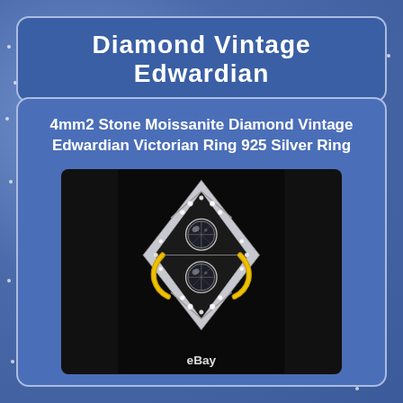Diamond Vintage Edwardian
4mm2 Stone Moissanite Diamond Vintage Edwardian Victorian Ring 925 Silver Ring
[Figure (photo): Close-up photograph of a vintage Edwardian style ring with diamond stones in a marquise/navette shaped platinum setting with two central round brilliant stones and multiple accent diamonds, displayed on a dark background. eBay watermark at bottom.]